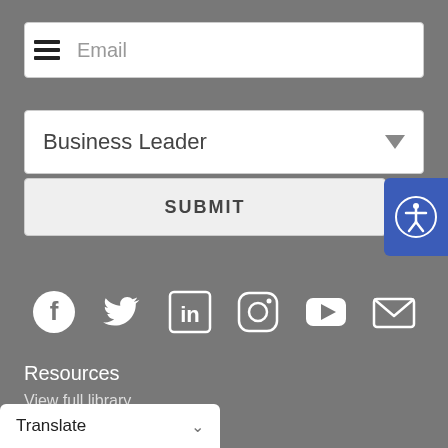[Figure (screenshot): Email input field with hamburger menu icon overlay on the left side]
[Figure (screenshot): Dropdown selector showing 'Business Leader' with arrow]
[Figure (screenshot): Submit button with accessibility icon button on right]
[Figure (infographic): Social media icons row: Facebook, Twitter, LinkedIn, Instagram, YouTube, Email]
Resources
View full library
Climate Change
[Figure (screenshot): Translate dropdown bar at the bottom left]